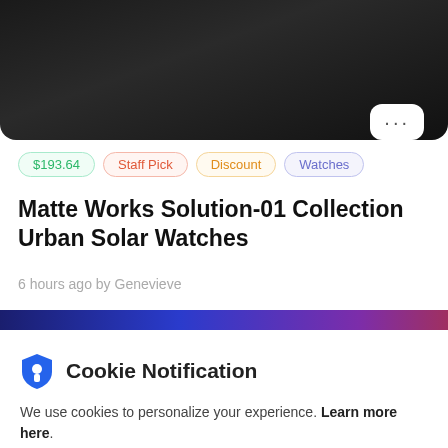[Figure (photo): Dark background photo partially visible at top of page, showing dark clothing/fabric]
$193.64  Staff Pick  Discount  Watches
Matte Works Solution-01 Collection Urban Solar Watches
6 hours ago by Genevieve
Cookie Notification
We use cookies to personalize your experience. Learn more here.
I Don't Accept   I Accept